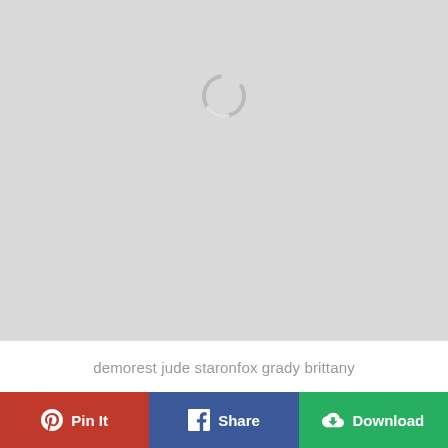[Figure (other): Loading spinner / gray placeholder area with a circular spinner icon in the upper center]
demorest jude staronfox grady brittany
Pin It
Share
Download